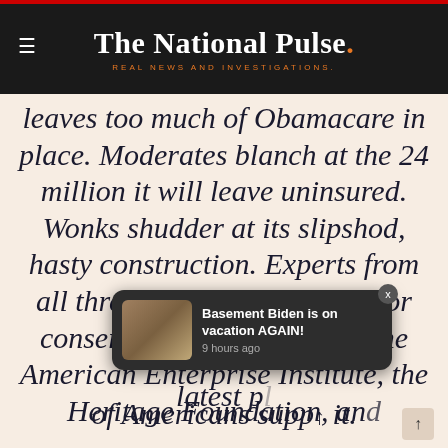The National Pulse. REAL NEWS AND INVESTIGATIONS.
leaves too much of Obamacare in place. Moderates blanch at the 24 million it will leave uninsured. Wonks shudder at its slipshod, hasty construction. Experts from all three of Washington's major conservative think tanks — the American Enterprise Institute, the Heritage Foundation, and the C[ato Institute have] latest p[anned the bill as the]
[Figure (screenshot): Notification popup: image of Biden, text 'Basement Biden is on vacation AGAIN!' with timestamp '9 hours ago', close button X]
of Americans supp[ort] it.